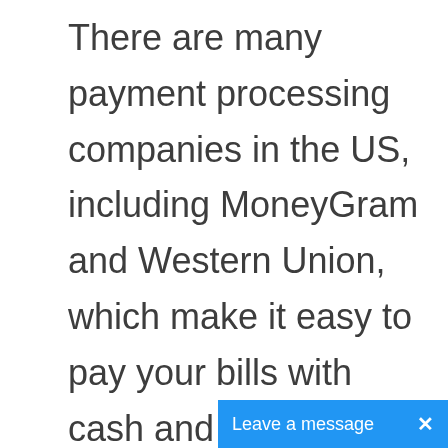There are many payment processing companies in the US, including MoneyGram and Western Union, which make it easy to pay your bills with cash and in some cases via transfers.
By far the easiest option for credit card management and bill payments is with the online service at mycardstatement.com. This service offers a